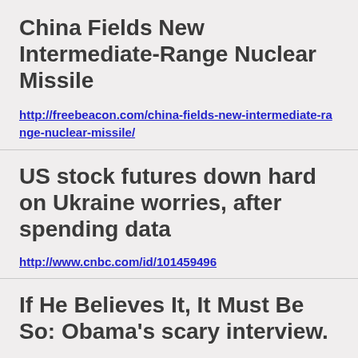China Fields New Intermediate-Range Nuclear Missile
http://freebeacon.com/china-fields-new-intermediate-range-nuclear-missile/
US stock futures down hard on Ukraine worries, after spending data
http://www.cnbc.com/id/101459496
If He Believes It, It Must Be So: Obama's scary interview.
http://www.weeklystandard.com/blogs/if-he-believes-